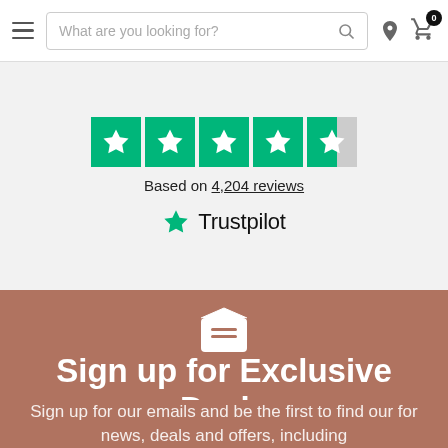Navigation bar with hamburger menu, search box, location icon, and cart icon (badge: 0)
[Figure (logo): Trustpilot widget showing 4 green stars and 1 half-filled star, text 'Based on 4,204 reviews' and Trustpilot logo with green star]
Based on 4,204 reviews
Sign up for Exclusive Deals
Sign up for our emails and be the first to find our for news, deals and offers, including